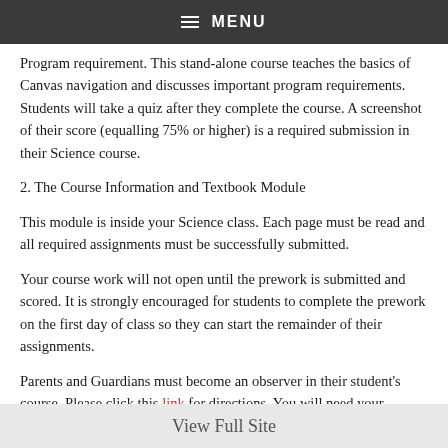≡ MENU
Program requirement.  This stand-alone course teaches the basics of Canvas navigation and discusses important program requirements.  Students will take a quiz after they complete the course.  A screenshot of their score (equalling 75% or higher) is a required submission in their Science course.
2. The Course Information and Textbook Module
This module is inside your Science class.  Each page must be read and all required assignments must be successfully submitted.
Your course work will not open until the prework is submitted and scored.  It is strongly encouraged for students to complete the prework on the first day of class so they can start the remainder of their assignments.
Parents and Guardians must become an observer in their student's course.  Please click this link for directions. You will need your student's user name and password to complete the
View Full Site